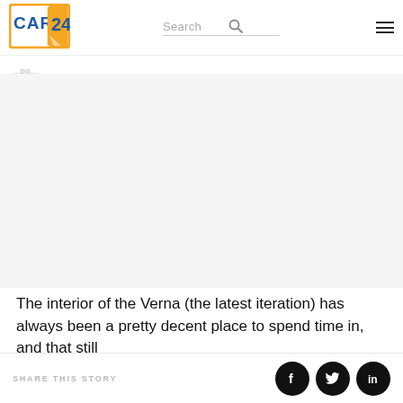CARS24 - Search
[Figure (photo): Cars24 logo with orange border, blue 'CARS' text and '24' in blue on orange/white background with diagonal stripe]
...pg...
[Figure (photo): Large white/blank image area showing interior of Verna car (content not fully visible)]
The interior of the Verna (the latest iteration) has always been a pretty decent place to spend time in, and that still
SHARE THIS STORY